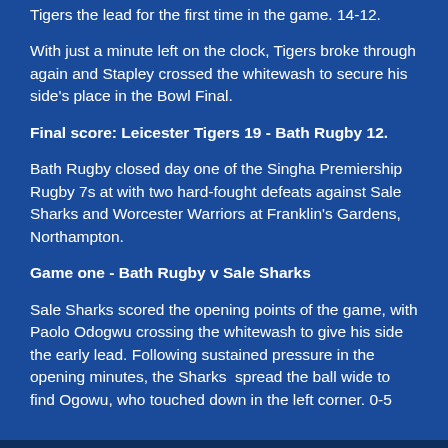Tigers the lead for the first time in the game. 14-12.
With just a minute left on the clock, Tigers broke through again and Stapley crossed the whitewash to secure his side's place in the Bowl Final.
Final score: Leicester Tigers 19 - Bath Rugby 12.
Bath Rugby closed day one of the Singha Premiership Rugby 7s at with two hard-fought defeats against Sale Sharks and Worcester Warriors at Franklin's Gardens, Northampton.
Game one - Bath Rugby v Sale Sharks
Sale Sharks scored the opening points of the game, with Paolo Odogwu crossing the whitewash to give his side the early lead. Following sustained pressure in the opening minutes, the Sharks  spread the ball wide to find Ogowu, who touched down in the left corner. 0-5